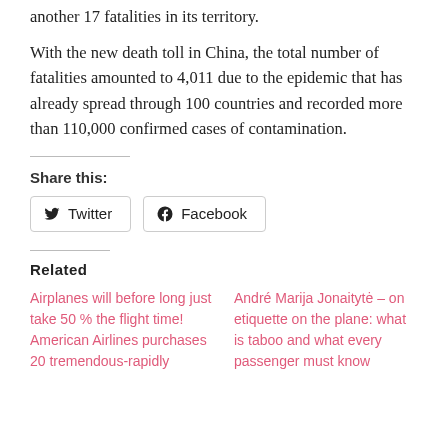another 17 fatalities in its territory.
With the new death toll in China, the total number of fatalities amounted to 4,011 due to the epidemic that has already spread through 100 countries and recorded more than 110,000 confirmed cases of contamination.
Share this:
Twitter   Facebook
Related
Airplanes will before long just take 50 % the flight time! American Airlines purchases 20 tremendous-rapidly
André Marija Jonaitytė – on etiquette on the plane: what is taboo and what every passenger must know